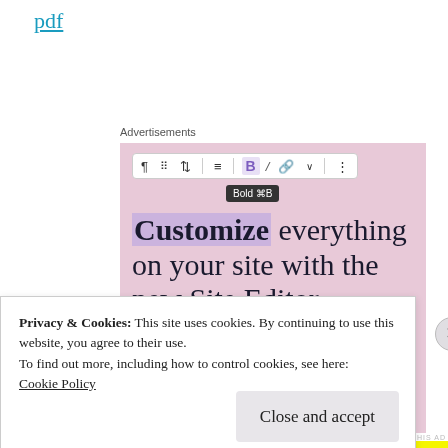pdf
Advertisements
[Figure (screenshot): WordPress site editor advertisement screenshot showing a toolbar with Bold, Italic, link buttons and tooltip 'Bold ⌘B', with large text 'Customize everything on your site with the new Site Editor.' on a pink background, and a 'Start Today' dark button.]
Privacy & Cookies: This site uses cookies. By continuing to use this website, you agree to their use.
To find out more, including how to control cookies, see here:
Cookie Policy
Close and accept